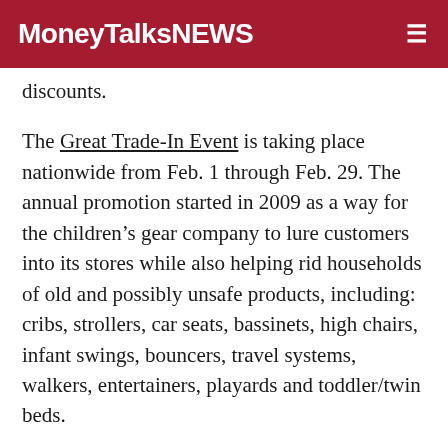MoneyTalksNews
discounts.
The Great Trade-In Event is taking place nationwide from Feb. 1 through Feb. 29. The annual promotion started in 2009 as a way for the children's gear company to lure customers into its stores while also helping rid households of old and possibly unsafe products, including: cribs, strollers, car seats, bassinets, high chairs, infant swings, bouncers, travel systems, walkers, entertainers, playards and toddler/twin beds.
“Many items traded in over the past six years were missing parts or damaged, while others were decades old and showed obvious signs of wear and tear,” the toy company said in a press release.